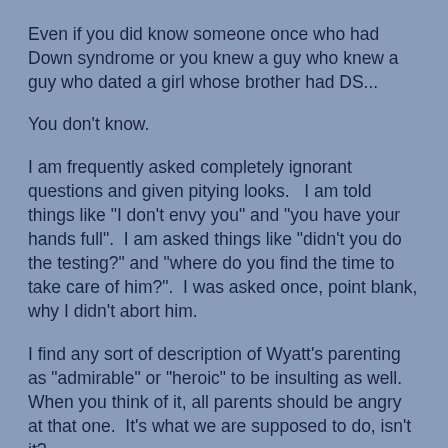Even if you did know someone once who had Down syndrome or you knew a guy who knew a guy who dated a girl whose brother had DS...
You don't know.
I am frequently asked completely ignorant questions and given pitying looks.   I am told things like "I don't envy you" and "you have your hands full".  I am asked things like "didn't you do the testing?" and "where do you find the time to take care of him?".  I was asked once, point blank, why I didn't abort him.
I find any sort of description of Wyatt's parenting as "admirable" or "heroic" to be insulting as well.  When you think of it, all parents should be angry at that one.  It's what we are supposed to do, isn't it?
That's where parent advocates like myself come in.  I admit, I am not the world's authority on Down syndrome, far from it.  I do know what the first 20 months look like.